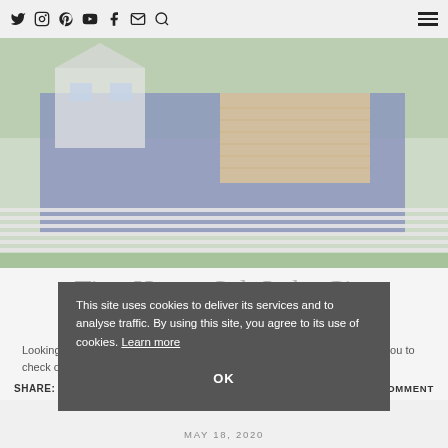Navigation bar with social icons: Twitter, Instagram, Pinterest, YouTube, Facebook, Email, Search, and hamburger menu
[Figure (photo): Exterior photo of a tiny house in Salt Lake City — a modern structure with blue-painted sections and wood cladding, surrounded by greenery and a horizontal slatted fence.]
Tiny House Salt Lake City Getaway
Looking for a tiny house salt lake city getaway? I have the perfect spot for you to check out if you're heading to ...
SHARE:  [Facebook] [Twitter] [Pinterest] [Tumblr]    LEAVE A COMMENT
This site uses cookies to deliver its services and to analyse traffic. By using this site, you agree to its use of cookies. Learn more
MAY 18, 2020